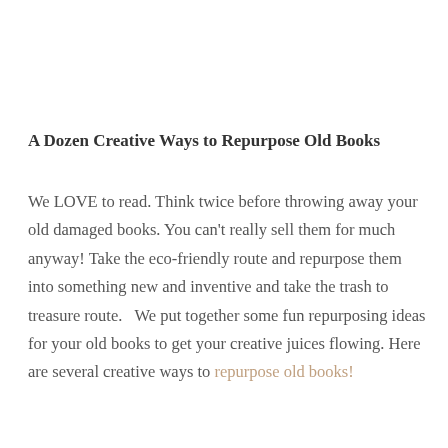A Dozen Creative Ways to Repurpose Old Books
We LOVE to read. Think twice before throwing away your old damaged books. You can't really sell them for much anyway! Take the eco-friendly route and repurpose them into something new and inventive and take the trash to treasure route.   We put together some fun repurposing ideas for your old books to get your creative juices flowing. Here are several creative ways to repurpose old books!